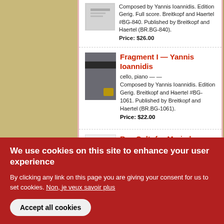Composed by Yannis Ioannidis. Edition Gerig. Full score. Breitkopf and Haertel #BG-840. Published by Breitkopf and Haertel (BR.BG-840).
Price: $26.00
Fragment I — Yannis Ioannidis
cello, piano — —
Composed by Yannis Ioannidis. Edition Gerig. Breitkopf and Haertel #BG-1061. Published by Breitkopf and Haertel (BR.BG-1061).
Price: $22.00
Bee Cult: for Marimba (with shaker and bass drum)
We use cookies on this site to enhance your user experience
By clicking any link on this page you are giving your consent for us to set cookies. Non, je veux savoir plus
Accept all cookies